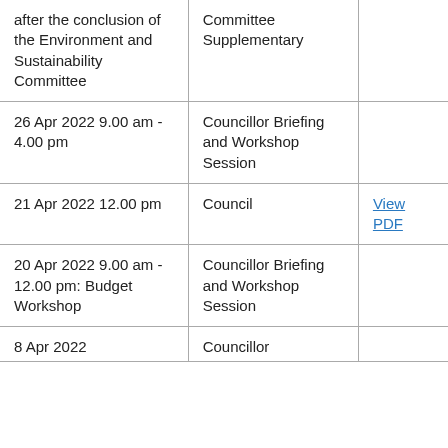| Date/Time | Meeting | Documents |
| --- | --- | --- |
| after the conclusion of the Environment and Sustainability Committee | Committee Supplementary |  |
| 26 Apr 2022 9.00 am - 4.00 pm | Councillor Briefing and Workshop Session |  |
| 21 Apr 2022 12.00 pm | Council | View PDF |
| 20 Apr 2022 9.00 am - 12.00 pm: Budget Workshop | Councillor Briefing and Workshop Session |  |
| 8 Apr 2022... | Councillor... |  |